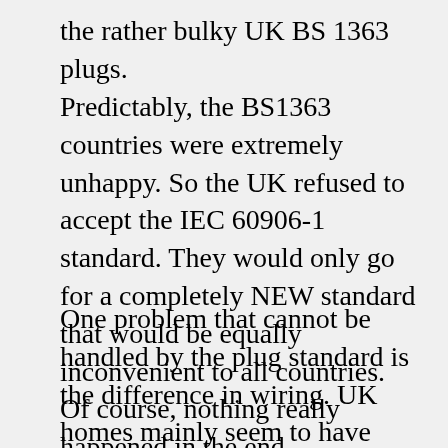the rather bulky UK BS 1363 plugs.
Predictably, the BS1363 countries were extremely unhappy. So the UK refused to accept the IEC 60906-1 standard. They would only go for a completely NEW standard that would be equally inconvenient to all countries. Of course, nothing really happened in the end.
One problem that cannot be handled by the plug standard is the difference in wiring. UK homes mainly seem to have ring wires with high current 32 A fuses. Continental homes generally